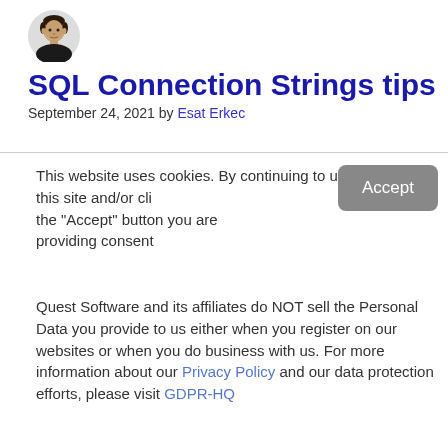[Figure (photo): Small circular avatar photo of a man with dark hair]
SQL Connection Strings tips
September 24, 2021 by Esat Erkec
This website uses cookies. By continuing to use this site and/or clicking the "Accept" button you are providing consent
Quest Software and its affiliates do NOT sell the Personal Data you provide to us either when you register on our websites or when you do business with us. For more information about our Privacy Policy and our data protection efforts, please visit GDPR-HQ